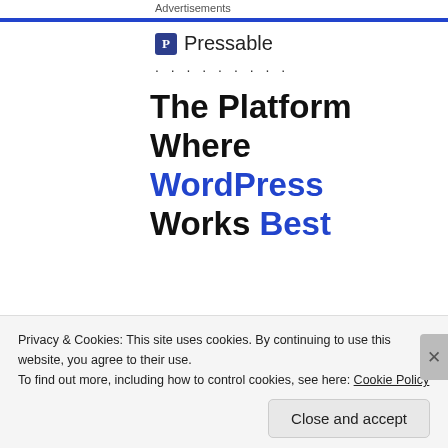Advertisements
[Figure (logo): Pressable logo with blue square P icon and text 'Pressable']
· · · · · · · · ·
The Platform Where WordPress Works Best
SEE PRICING
REPORT THIS AD
♠ SUBSCRIBE
Entries (RSS)
Privacy & Cookies: This site uses cookies. By continuing to use this website, you agree to their use.
To find out more, including how to control cookies, see here: Cookie Policy
Close and accept